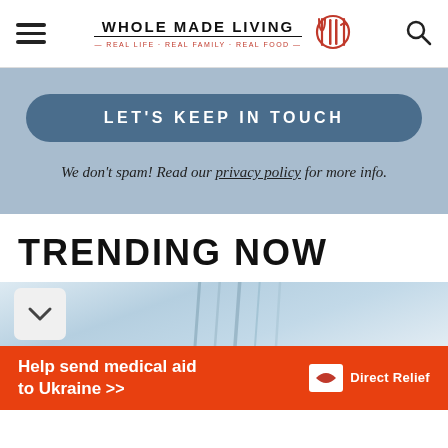WHOLE MADE LIVING — REAL LIFE · REAL FAMILY · REAL FOOD
LET'S KEEP IN TOUCH
We don't spam! Read our privacy policy for more info.
TRENDING NOW
[Figure (photo): Close-up food photo showing silverware/fork on a light blue background, partially visible at bottom of page]
Help send medical aid to Ukraine >> Direct Relief